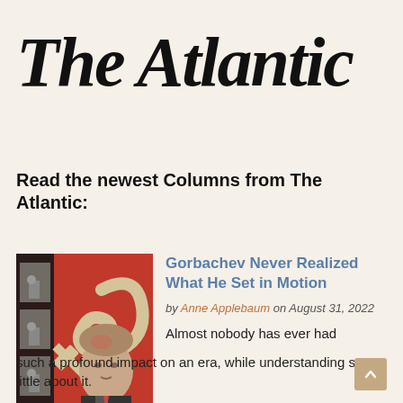The Atlantic
Read the newest Columns from The Atlantic:
[Figure (photo): Collage illustration featuring a hammer and sickle symbol on a red background alongside a black-and-white photo of Mikhail Gorbachev speaking at a podium]
Gorbachev Never Realized What He Set in Motion
by Anne Applebaum on August 31, 2022
Almost nobody has ever had such a profound impact on an era, while understanding so little about it.